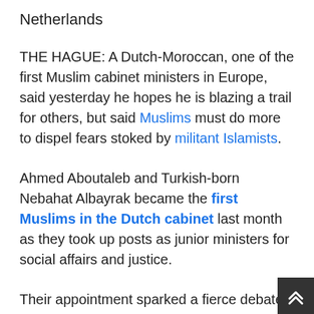Netherlands
THE HAGUE: A Dutch-Moroccan, one of the first Muslim cabinet ministers in Europe, said yesterday he hopes he is blazing a trail for others, but said Muslims must do more to dispel fears stoked by militant Islamists.
Ahmed Aboutaleb and Turkish-born Nebahat Albayrak became the first Muslims in the Dutch cabinet last month as they took up posts as junior ministers for social affairs and justice.
Their appointment sparked a fierce debate on dual nationality as anti-immigration politician Geert Wilders questioned their